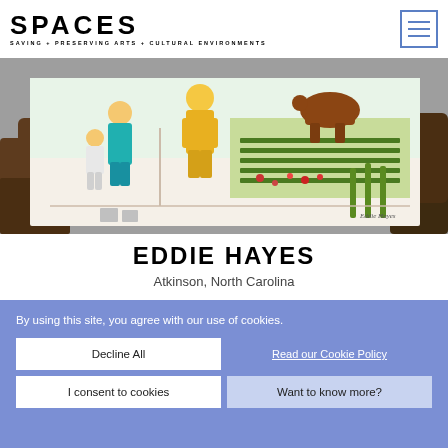SPACES — SAVING + PRESERVING ARTS + CULTURAL ENVIRONMENTS
[Figure (photo): Hands holding a colorful pencil drawing depicting people working in a garden/farm scene with corn plants and flowers. A child and adult in teal and yellow clothing are visible in the illustration. Signed by Eddie Hayes.]
EDDIE HAYES
Atkinson, North Carolina
By using this site, you agree with our use of cookies.
Decline All
Read our Cookie Policy
I consent to cookies
Want to know more?